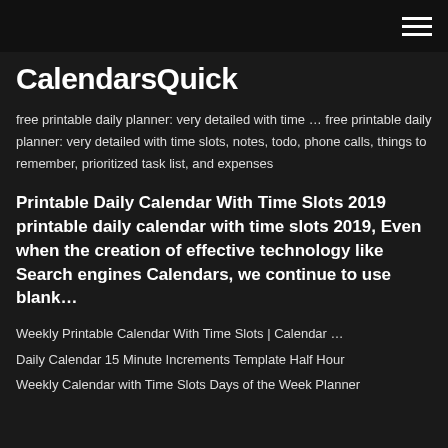CalendarsQuick [hamburger menu icon]
CalendarsQuick
free printable daily planner: very detailed with time … free printable daily planner: very detailed with time slots, notes, todo, phone calls, things to remember, prioritized task list, and expenses
Printable Daily Calendar With Time Slots 2019 printable daily calendar with time slots 2019, Even when the creation of effective technology like Search engines Calendars, we continue to use blank…
Weekly Printable Calendar With Time Slots | Calendar …
Daily Calendar 15 Minute Increments Template Half Hour
Weekly Calendar with Time Slots Days of the Week Planner